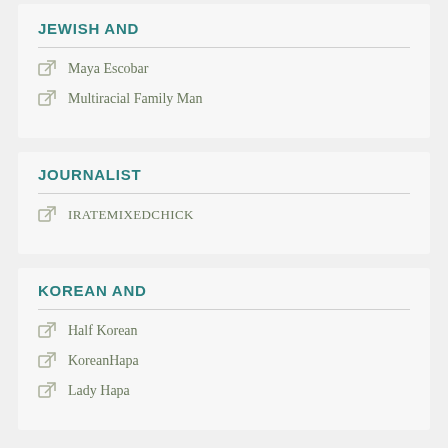JEWISH AND
Maya Escobar
Multiracial Family Man
JOURNALIST
IRATEMIXEDCHICK
KOREAN AND
Half Korean
KoreanHapa
Lady Hapa